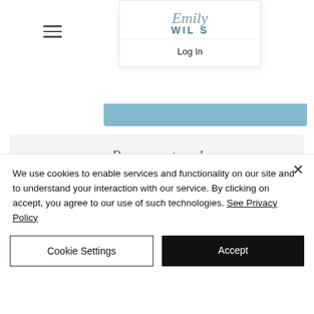[Figure (screenshot): Website screenshot showing navigation bar with hamburger menu, Emily Wilks logo dropdown, Log In link, blue accent rectangles, and partial 'OUR' heading text]
Reconnect and Elevate
has been created to help
We use cookies to enable services and functionality on our site and to understand your interaction with our service. By clicking on accept, you agree to our use of such technologies. See Privacy Policy
Cookie Settings
Accept